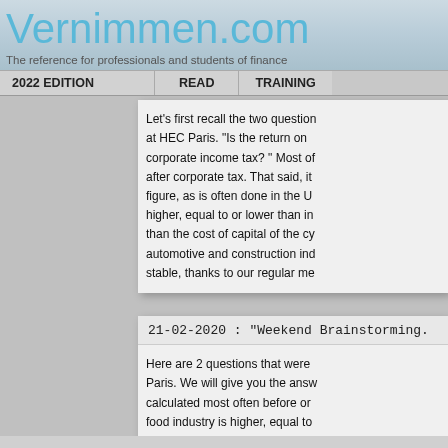Vernimmen.com
The reference for professionals and students of finance
2022 EDITION | READ | TRAINING
Let’s first recall the two questions at HEC Paris. “Is the return on corporate income tax?” Most of after corporate tax. That said, it figure, as is often done in the U higher, equal to or lower than in than the cost of capital of the cy automotive and construction ind stable, thanks to our regular me
21-02-2020 : “Weekend Brainstorming.
Here are 2 questions that were Paris. We will give you the answ calculated most often before or food industry is higher, equal to